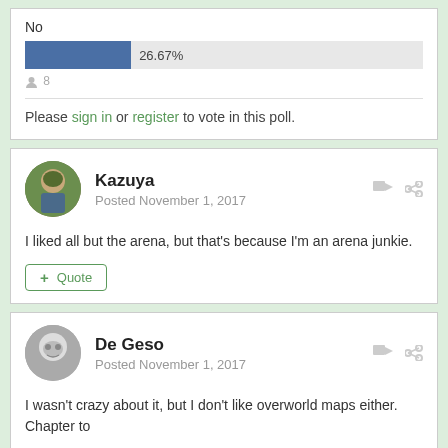No
[Figure (bar-chart): Poll results]
8 votes
Please sign in or register to vote in this poll.
Kazuya
Posted November 1, 2017
I liked all but the arena, but that's because I'm an arena junkie.
Quote
De Geso
Posted November 1, 2017
I wasn't crazy about it, but I don't like overworld maps either. Chapter to